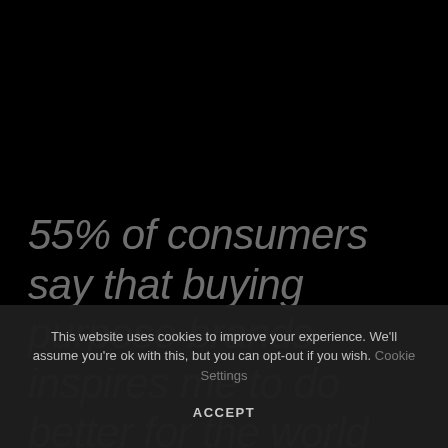55% of consumers say that buying purpose brands inspires me to do better for the world
This website uses cookies to improve your experience. We'll assume you're ok with this, but you can opt-out if you wish. Cookie Settings
ACCEPT